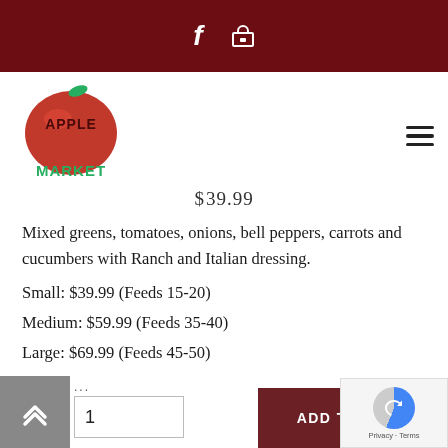Apple Market website header with Facebook and cart icons, dark red navigation bar
[Figure (logo): Apple Market logo: red apple with green leaf and stem, text 'APPLE MARKET' with green 'MARKET' text]
$39.99
Mixed greens, tomatoes, onions, bell peppers, carrots and cucumbers with Ranch and Italian dressing.
Small: $39.99 (Feeds 15-20)
Medium: $59.99 (Feeds 35-40)
Large: $69.99 (Feeds 45-50)
ADD TO CART button with quantity input and scroll-up control